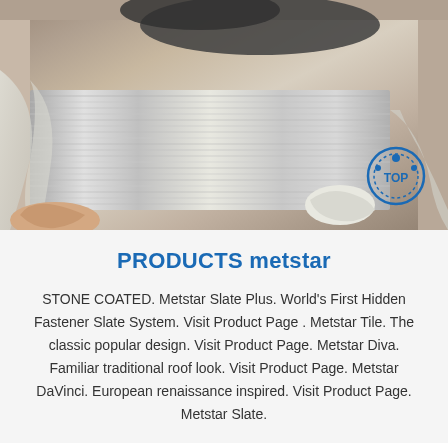[Figure (photo): Photo of stacked metallic/aluminum sheets or foil material inside a container or crate, with plastic wrapping partially unwrapped. A hand is visible at the bottom left lifting the wrapping.]
PRODUCTS metstar
STONE COATED. Metstar Slate Plus. World's First Hidden Fastener Slate System. Visit Product Page . Metstar Tile. The classic popular design. Visit Product Page. Metstar Diva. Familiar traditional roof look. Visit Product Page. Metstar DaVinci. European renaissance inspired. Visit Product Page. Metstar Slate.